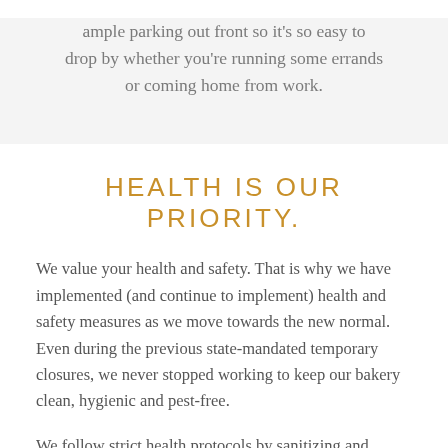ample parking out front so it's so easy to drop by whether you're running some errands or coming home from work.
HEALTH IS OUR PRIORITY.
We value your health and safety. That is why we have implemented (and continue to implement) health and safety measures as we move towards the new normal. Even during the previous state-mandated temporary closures, we never stopped working to keep our bakery clean, hygienic and pest-free.
We follow strict health protocols by sanitizing and disinfecting our kitchen, food preparation